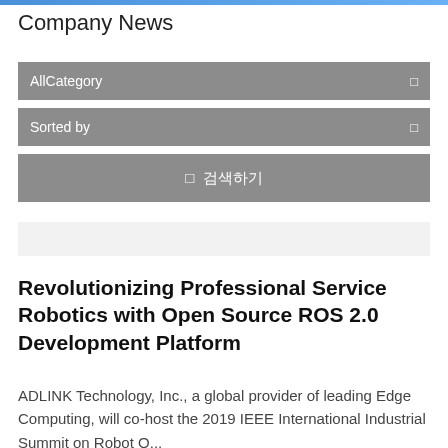Company News
AllCategory
Sorted by
🔍 검색하기
Revolutionizing Professional Service Robotics with Open Source ROS 2.0 Development Platform
ADLINK Technology, Inc., a global provider of leading Edge Computing, will co-host the 2019 IEEE International Industrial Summit on Robot O...